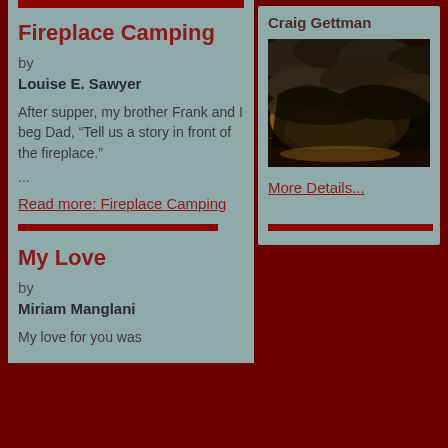Fireplace Camping
by
Louise E. Sawyer
After supper, my brother Frank and I beg Dad, “Tell us a story in front of the fireplace.”
...
Read more: Fireplace Camping
My Love
by
Miriam Manglani
My love for you was
Craig Gettman
[Figure (photo): Dramatic sky photo with sunrays breaking through dark storm clouds, golden light visible near the horizon]
More Details...